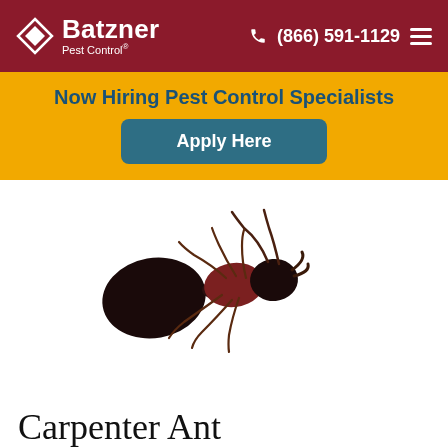Batzner Pest Control | (866) 591-1129
Now Hiring Pest Control Specialists
Apply Here
[Figure (photo): Close-up photo of a carpenter ant (black and dark red) on a white background, shown in profile view facing right.]
Carpenter Ant